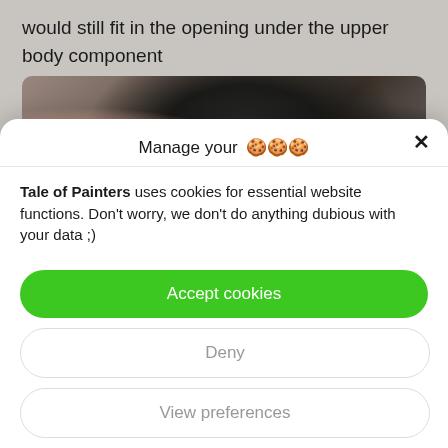would still fit in the opening under the upper body component
[Figure (photo): Close-up photo of mechanical/automotive component parts, showing metal and skin tones]
Manage your 🍪🍪🍪
Tale of Painters uses cookies for essential website functions. Don't worry, we don't do anything dubious with your data ;)
Accept cookies
Deny
View preferences